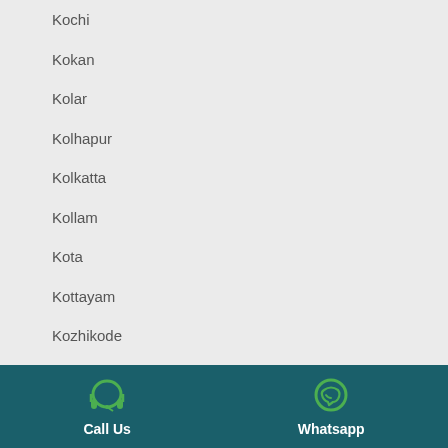Kochi
Kokan
Kolar
Kolhapur
Kolkatta
Kollam
Kota
Kottayam
Kozhikode
Krishna
Call Us   Whatsapp